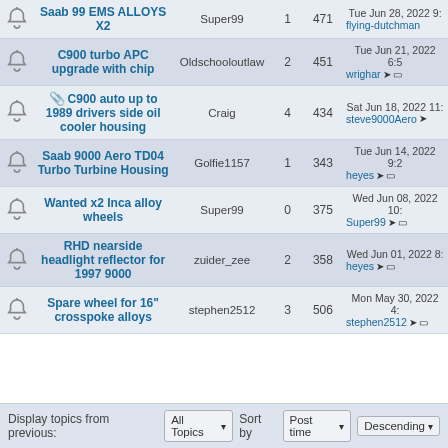|  | Topic | Author | Replies | Views | Last post |
| --- | --- | --- | --- | --- | --- |
|  | Saab 99 EMS ALLOYS X2 | Super99 | 1 | 471 | Tue Jun 28, 2022 9: flying-dutchman |
|  | C900 turbo APC upgrade with chip | Oldschooloutlaw | 2 | 451 | Tue Jun 21, 2022 6:5 wrighar |
|  | C900 auto up to 1989 drivers side oil cooler housing | Craig | 4 | 434 | Sat Jun 18, 2022 11: steve9000Aero |
|  | Saab 9000 Aero TD04 Turbo Turbine Housing | Golfie1157 | 1 | 343 | Tue Jun 14, 2022 9:2 heyes |
|  | Wanted x2 Inca alloy wheels | Super99 | 0 | 375 | Wed Jun 08, 2022 10: Super99 |
|  | RHD nearside headlight reflector for 1997 9000 | zuider_zee | 2 | 358 | Wed Jun 01, 2022 8: heyes |
|  | Spare wheel for 16" crosspoke alloys | stephen2512 | 3 | 506 | Mon May 30, 2022 4: stephen2512 |
Display topics from previous: All Topics  Sort by  Post time  Descending